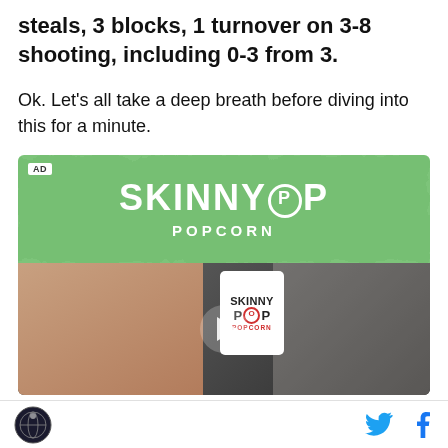steals, 3 blocks, 1 turnover on 3-8 shooting, including 0-3 from 3.
Ok. Let's all take a deep breath before diving into this for a minute.
[Figure (photo): SkinnyPop Popcorn advertisement banner with green top section showing the SKINNYPOP POPCORN logo and a bottom section showing a man holding a bag of SkinnyPop Popcorn with a video play button overlay.]